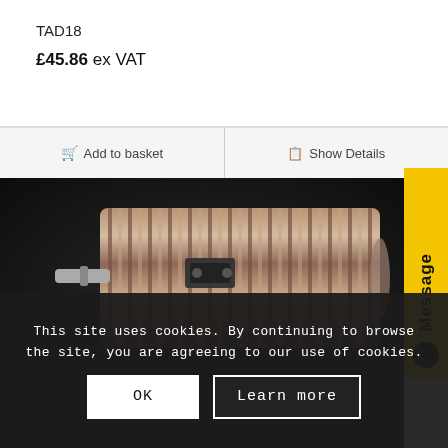TAD18
£45.86 ex VAT
Add to basket
Show Details
[Figure (photo): Metallic cross-flow fan / turbine blower component photographed on a dark background, showing cylindrical ribbed drum with mounting bracket and shaft.]
Message
This site uses cookies. By continuing to browse the site, you are agreeing to our use of cookies.
OK
Learn more